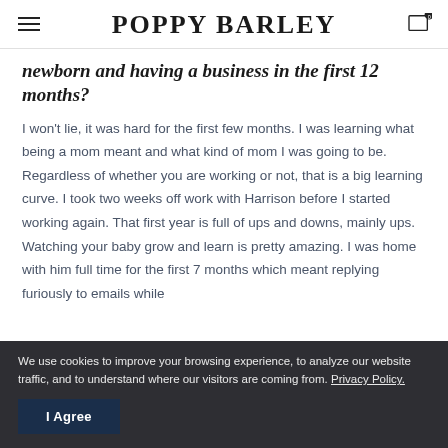POPPY BARLEY
newborn and having a business in the first 12 months?
I won't lie, it was hard for the first few months. I was learning what being a mom meant and what kind of mom I was going to be. Regardless of whether you are working or not, that is a big learning curve. I took two weeks off work with Harrison before I started working again. That first year is full of ups and downs, mainly ups. Watching your baby grow and learn is pretty amazing. I was home with him full time for the first 7 months which meant replying furiously to emails while
We use cookies to improve your browsing experience, to analyze our website traffic, and to understand where our visitors are coming from. Privacy Policy.
I Agree